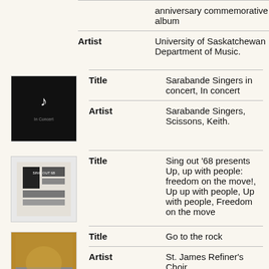| Field | Value |
| --- | --- |
|  | anniversary commemorative album |
| Artist | University of Saskatchewan Department of Music. |
[Figure (photo): Album cover thumbnail: dark background with musical notes, Sarabande Singers]
| Field | Value |
| --- | --- |
| Title | Sarabande Singers in concert, In concert |
| Artist | Sarabande Singers, Scissons, Keith. |
[Figure (photo): Album cover thumbnail: light background with figure and text, Sing out 68]
| Field | Value |
| --- | --- |
| Title | Sing out '68 presents Up, up with people: freedom on the move!, Up up with people, Up with people, Freedom on the move |
[Figure (photo): Album cover thumbnail: gold/brown abstract image, Go to the rock]
| Field | Value |
| --- | --- |
| Title | Go to the rock |
| Artist | St. James Refiner's Choir |
[Figure (photo): Partial album cover thumbnail at bottom of page]